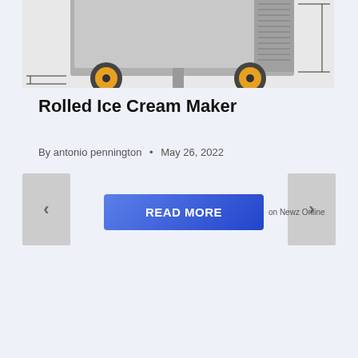[Figure (photo): Partial view of a rolled ice cream maker machine showing wheels and metal housing]
Rolled Ice Cream Maker
By antonio pennington  •  May 26, 2022
READ MORE on Newz Online